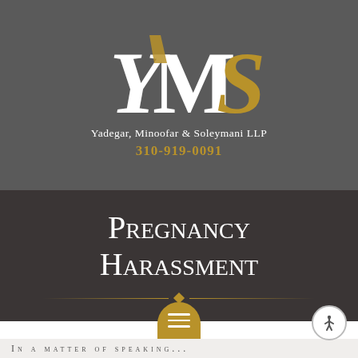[Figure (logo): YMS law firm logo with large stylized Y, M, S letters in white and gold on dark gray background]
Yadegar, Minoofar & Soleymani LLP
310-919-0091
Pregnancy Harassment
[Figure (other): Decorative horizontal divider with gold lines and a small gold diamond square in the center]
[Figure (other): Gold rounded menu button at bottom center with three white horizontal lines]
[Figure (other): Accessibility icon button (person in circle) at bottom right]
In a matter of speaking...